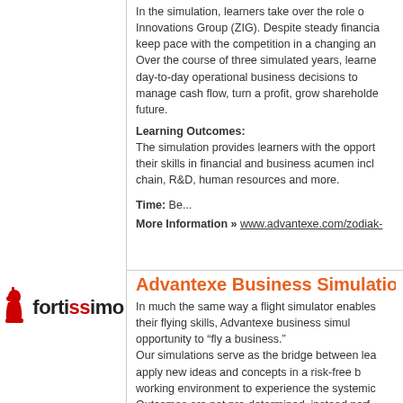In the simulation, learners take over the role of Innovations Group (ZIG). Despite steady financial... keep pace with the competition in a changing and... Over the course of three simulated years, learners... day-to-day operational business decisions to... manage cash flow, turn a profit, grow shareholder... future.
Learning Outcomes:
The simulation provides learners with the opportunity to practice their skills in financial and business acumen including... chain, R&D, human resources and more.
Time: Be...
More Information » www.advantexe.com/zodiak-
[Figure (logo): Fortissimo logo: red chess piece knight icon followed by bold text 'fortissimo' with 'ss' in red]
Advantexe Business Simulations
In much the same way a flight simulator enables... their flying skills, Advantexe business simulations... opportunity to "fly a business." Our simulations serve as the bridge between learning and... apply new ideas and concepts in a risk-free business... working environment to experience the systemic... Outcomes are not pre-determined, instead performance... actions of learners. This allows them to test... making, interact with diverse characters, and...